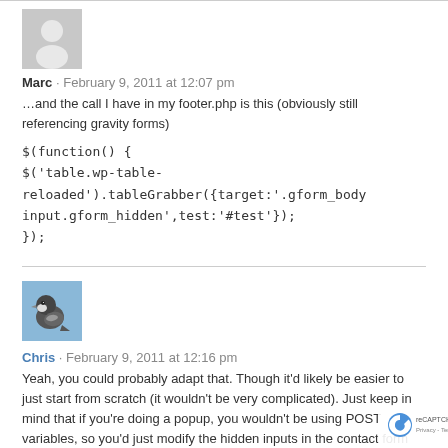[Figure (illustration): Gray placeholder avatar silhouette for user Marc]
Marc · February 9, 2011 at 12:07 pm
…and the call I have in my footer.php is this (obviously still referencing gravity forms)
$(function() {
$('table.wp-table-reloaded').tableGrabber({target:'.gform_body input.gform_hidden',test:'#test'});
});
[Figure (photo): Profile photo of user Chris showing a bird (chickadee) against blue sky]
Chris · February 9, 2011 at 12:16 pm
Yeah, you could probably adapt that. Though it'd likely be easier to just start from scratch (it wouldn't be very complicated). Just keep in mind that if you're doing a popup, you wouldn't be using POST variables, so you'd just modify the hidden inputs in the contact form directly through jQuery. And in